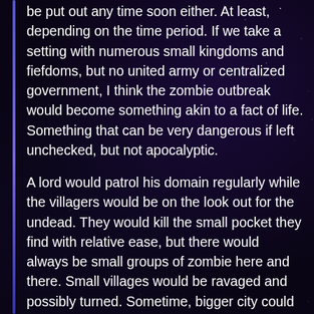be put out any time soon either. At least, depending on the time period. If we take a setting with numerous small kingdoms and fiefdoms, but no united army or centralized government, I think the zombie outbreak would become something akin to a fact of life. Something that can be very dangerous if left unchecked, but not apocalyptic.

A lord would patrol his domain regularly while the villagers would be on the look out for the undead. They would kill the small pocket they find with relative ease, but there would always be small groups of zombie here and there. Small villages would be ravaged and possibly turned. Sometime, bigger city could be almost wiped out,